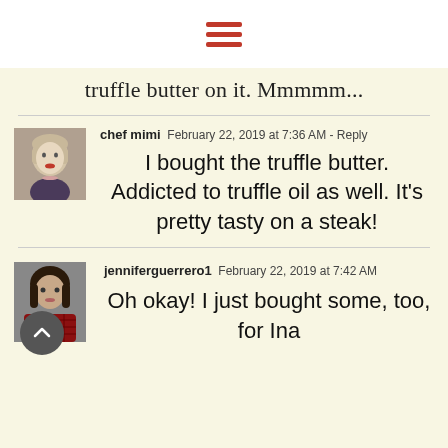[Figure (other): Hamburger menu icon with three horizontal red bars]
truffle butter on it. Mmmmm...
chef mimi  February 22, 2019 at 7:36 AM - Reply
I bought the truffle butter. Addicted to truffle oil as well. It's pretty tasty on a steak!
jenniferguerrero1  February 22, 2019 at 7:42 AM
Oh okay! I just bought some, too, for Ina